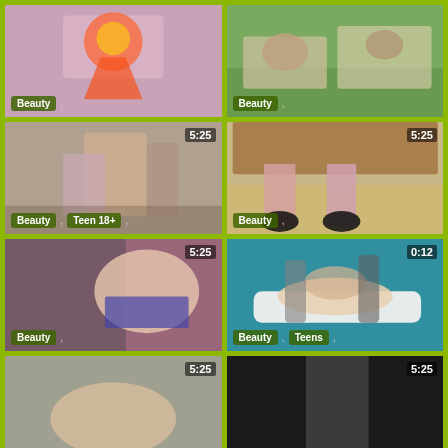[Figure (screenshot): Animated character with orange/red costume on pink background, no duration shown]
[Figure (screenshot): Two people on green surface, massage or interaction scene, no duration shown]
[Figure (screenshot): Person in pink costume/outfit near wall, duration 5:25]
[Figure (screenshot): Legs with black high heels near bed, duration 5:25]
[Figure (screenshot): Person with glasses lying on bed, duration 5:25]
[Figure (screenshot): Massage scene on white table, teal background, duration 0:12]
[Figure (screenshot): Partial view, bottom row left, duration 5:25]
[Figure (screenshot): Dark scene, bottom row right, duration 5:25]